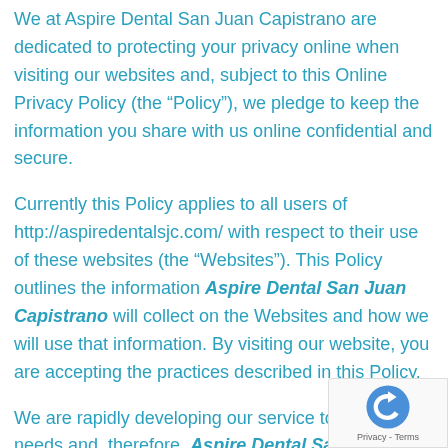We at Aspire Dental San Juan Capistrano are dedicated to protecting your privacy online when visiting our websites and, subject to this Online Privacy Policy (the “Policy”), we pledge to keep the information you share with us online confidential and secure.
Currently this Policy applies to all users of http://aspiredentalsjc.com/ with respect to their use of these websites (the “Websites”). This Policy outlines the information Aspire Dental San Juan Capistrano will collect on the Websites and how we will use that information. By visiting our website, you are accepting the practices described in this Policy.
We are rapidly developing our service to meet your needs and, therefore, Aspire Dental San Juan Capistrano reserves the right to modify this policy without advance notice. We ask that you periodically